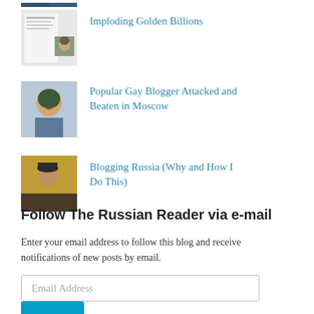[Figure (photo): Partially visible thumbnail image at top of page (cropped)]
Imploding Golden Billions
[Figure (photo): Thumbnail showing a document/article preview with a person's face]
Popular Gay Blogger Attacked and Beaten in Moscow
[Figure (photo): Thumbnail of a smiling woman]
Blogging Russia (Why and How I Do This)
[Figure (photo): Thumbnail of a person outdoors near a golden/warm background]
Ilya Yashin: Life Is Everywhere
[Figure (photo): Thumbnail of a person sitting]
Follow The Russian Reader via e-mail
Enter your email address to follow this blog and receive notifications of new posts by email.
Email Address